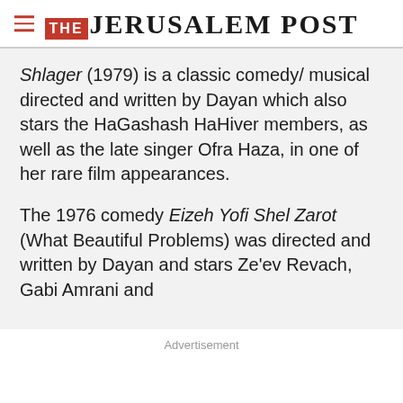THE JERUSALEM POST
Shlager (1979) is a classic comedy/ musical directed and written by Dayan which also stars the HaGashash HaHiver members, as well as the late singer Ofra Haza, in one of her rare film appearances.
The 1976 comedy Eizeh Yofi Shel Zarot (What Beautiful Problems) was directed and written by Dayan and stars Ze'ev Revach, Gabi Amrani and ...
Advertisement